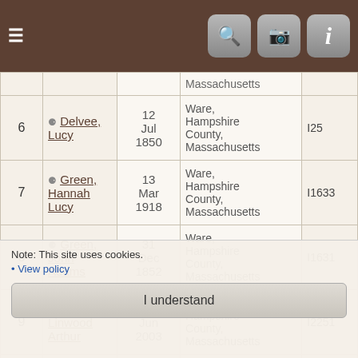Navigation bar with hamburger menu, search, camera, and info icons
| # | Name | Date | Place | ID |
| --- | --- | --- | --- | --- |
|  | Massachusetts |  |  |  |
| 6 | Delvee, Lucy | 12 Jul 1850 | Ware, Hampshire County, Massachusetts | I25 |
| 7 | Green, Hannah Lucy | 13 Mar 1918 | Ware, Hampshire County, Massachusetts | I1633 |
| 8 | Green, John Adams | 31 Dec 1852 | Ware, Hampshire County, Massachusetts | I1631 |
| 9 | Paro, Linwood Arthur | 3 Jun 2003 | Ware, Hampshire County, Massachusetts | I2251 |
| 10 | Richardson, Bertha Hattie | 19 Jan 1981 | Ware, Hampshire County, Massachusetts | I1291 |
| 11 |  | 19 | Ware, Hampshire |  |
Note: This site uses cookies.
• View policy
I understand